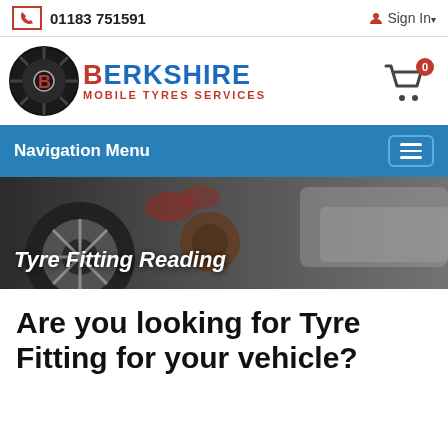01183 751591  Sign In
[Figure (logo): Berkshire Mobile Tyres Services logo with tyre graphic, blue and red text]
Navigation Menu
[Figure (photo): Tyre fitting scene showing car wheel being fitted]
Tyre Fitting Reading
Are you looking for Tyre Fitting for your vehicle?